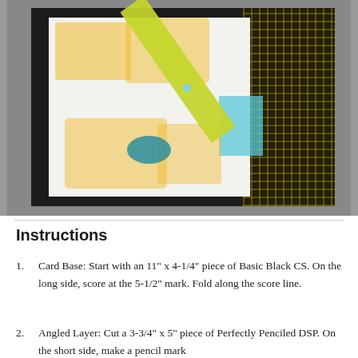[Figure (photo): A handmade greeting card with cheese-themed stamps (yellow cheese wedges with holes) on a white layer mounted on a black card base. A green diagonal banner reads 'it might sound CHEESY, but I think you're GRATE!' with a teal/blue sparkly ribbon bow. The background includes plaid patterned paper on the right side and a teal corner piece.]
Instructions
Card Base: Start with an 11" x 4-1/4" piece of Basic Black CS. On the long side, score at the 5-1/2" mark. Fold along the score line.
Angled Layer: Cut a 3-3/4" x 5" piece of Perfectly Penciled DSP. On the short side, make a pencil mark